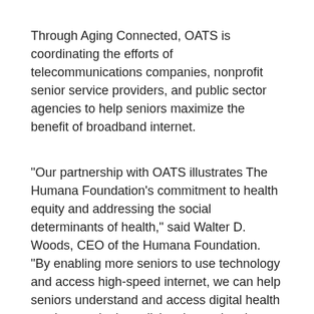Through Aging Connected, OATS is coordinating the efforts of telecommunications companies, nonprofit senior service providers, and public sector agencies to help seniors maximize the benefit of broadband internet.
"Our partnership with OATS illustrates The Humana Foundation's commitment to health equity and addressing the social determinants of health," said Walter D. Woods, CEO of the Humana Foundation. "By enabling more seniors to use technology and access high-speed internet, we can help seniors understand and access digital health services and telemedicine, improving the quality of healthcare they receive. Additionally, Aging Connected will help seniors combat loneliness and increase their sense of social connectedness by engaging people safely at home. We call on other community leaders, businesses, and philanthropic funders to join us in committing to this important initiative."